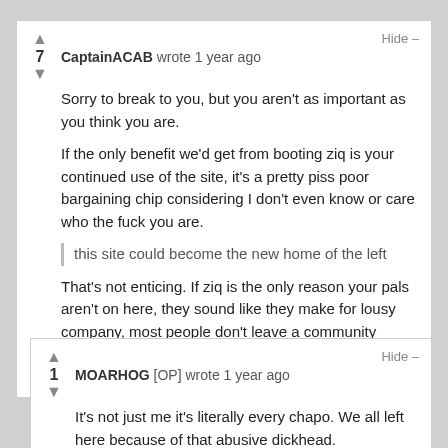CaptainACAB wrote 1 year ago
Sorry to break to you, but you aren't as important as you think you are.

If the only benefit we'd get from booting ziq is your continued use of the site, it's a pretty piss poor bargaining chip considering I don't even know or care who the fuck you are.

this site could become the new home of the left

That's not enticing. If ziq is the only reason your pals aren't on here, they sound like they make for lousy company, most people don't leave a community because of one person.
Permalink
MOARHOG [OP] wrote 1 year ago
It's not just me it's literally every chapo. We all left here because of that abusive dickhead.